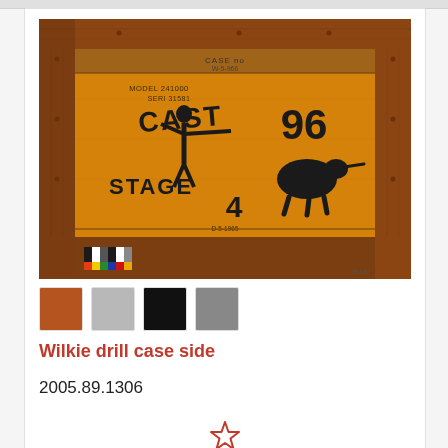[Figure (photo): Wooden drill case side with orange/yellow painted surface, decorated with black stencilled figures of a girl and a bird (kiwi), text reading MODEL 241000, CASE, STAGE 4, and a color calibration scale bar at the bottom left. The case has wooden frame borders.]
[Figure (other): Four color swatches: brown/rust, light grey, black, medium grey]
Wilkie drill case side
2005.89.1306
[Figure (other): Red outlined star/bookmark icon]